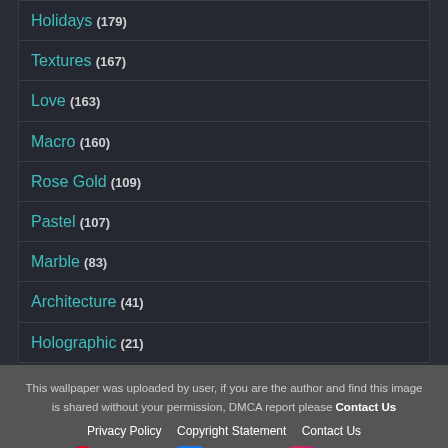Holidays (179)
Textures (167)
Love (163)
Macro (160)
Rose Gold (109)
Pastel (107)
Marble (83)
Architecture (41)
Holographic (21)
This wallpaper was uploaded by user, if you are the author and find this image is shared without your permission, DMCA report please Contact Us
Privacy Policy  Copyright Statement  Contact Us
Pinterest  Facebook  Instagram